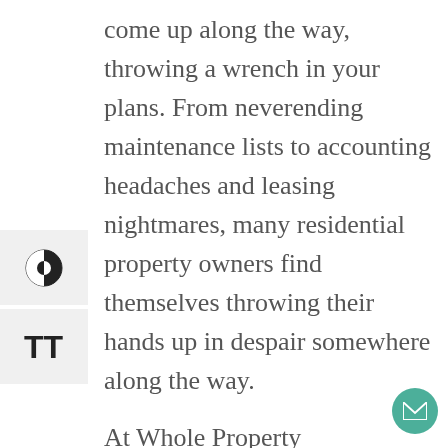come up along the way, throwing a wrench in your plans. From neverending maintenance lists to accounting headaches and leasing nightmares, many residential property owners find themselves throwing their hands up in despair somewhere along the way.
At Whole Property Management, we want to change all of that. We offer Denver property management solutions for landlords and investors of all shapes and sizes. Our team carefully watches movement in our local market, and we use our unbeatable expertise to